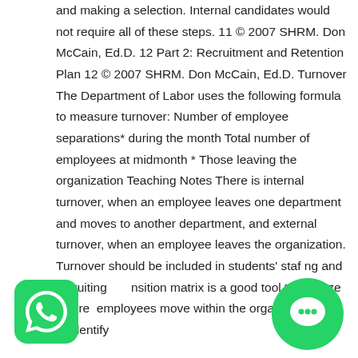and making a selection. Internal candidates would not require all of these steps. 11 © 2007 SHRM. Don McCain, Ed.D. 12 Part 2: Recruitment and Retention Plan 12 © 2007 SHRM. Don McCain, Ed.D. Turnover The Department of Labor uses the following formula to measure turnover: Number of employee separations* during the month Total number of employees at midmonth * Those leaving the organization Teaching Notes There is internal turnover, when an employee leaves one department and moves to another department, and external turnover, when an employee leaves the organization. Turnover should be included in students' stafng and recruiting. A transition matrix is a good tool to analyze where employees move within the organization and to identify
[Figure (logo): WhatsApp logo icon — green circle with white phone handset]
[Figure (logo): Green chat bubble icon with white speech bubble inside]